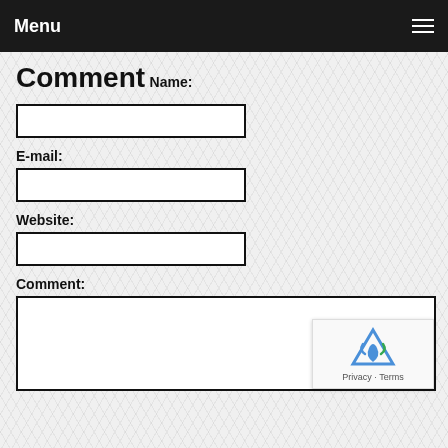Menu
Comment
Name:
E-mail:
Website:
Comment: